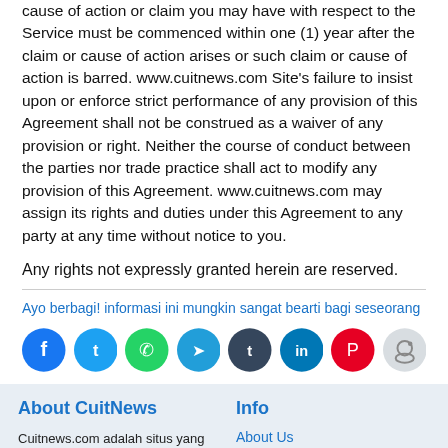cause of action or claim you may have with respect to the Service must be commenced within one (1) year after the claim or cause of action arises or such claim or cause of action is barred. www.cuitnews.com Site's failure to insist upon or enforce strict performance of any provision of this Agreement shall not be construed as a waiver of any provision or right. Neither the course of conduct between the parties nor trade practice shall act to modify any provision of this Agreement. www.cuitnews.com may assign its rights and duties under this Agreement to any party at any time without notice to you.
Any rights not expressly granted herein are reserved.
Ayo berbagi! informasi ini mungkin sangat bearti bagi seseorang
[Figure (other): Social sharing icons: Facebook, Twitter, WhatsApp, Telegram, Tumblr, LinkedIn, Pinterest, Reddit]
About CuitNews
Cuitnews.com adalah situs yang menyajikan informasi atau Berita Singkat yang dikelola oleh multi individu yang berasal dari latar belakang penulis lepas dan penulis tetap.
Info
About Us
Contact Us
Redaksi
Comment Policy